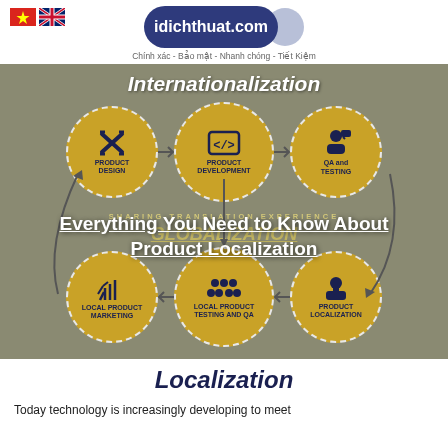[Figure (logo): idichthuat.com logo with dark blue circle, Vietnamese and UK flags]
Chính xác - Bảo mật - Nhanh chóng - Tiết Kiệm
[Figure (infographic): Globalization infographic showing a cycle with 6 gold circles: Product Design, Product Development, QA and Testing, Product Localization, Local Product Testing and QA, Local Product Marketing. Top label: Internationalization. Middle: SHARING TRANSLATION EXPERIENCE / GLOBALIZATION. Bottom: Localization. Overlay text: Everything You Need to Know About Product Localization]
Everything You Need to Know About Product Localization
Localization
Today technology is increasingly developing to meet